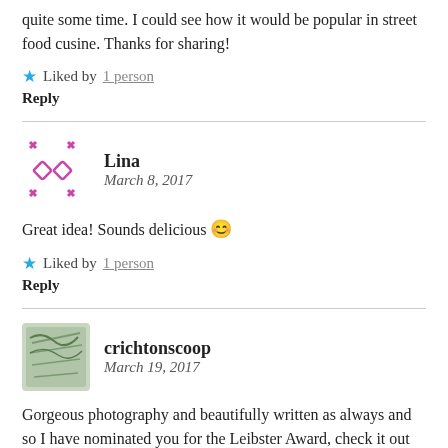quite some time. I could see how it would be popular in street food cusine. Thanks for sharing!
★ Liked by 1 person
Reply
Lina
March 8, 2017
Great idea! Sounds delicious 😊
★ Liked by 1 person
Reply
crichtonscoop
March 19, 2017
Gorgeous photography and beautifully written as always and so I have nominated you for the Leibster Award, check it out and hope you would like 😊